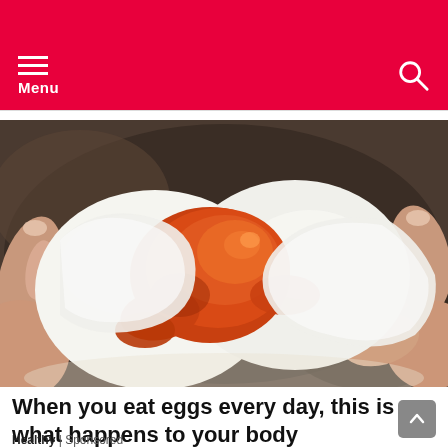Menu
[Figure (photo): Close-up photo of hands pulling apart a peeled soft-boiled egg revealing a deep orange/red runny yolk against the white egg interior, with a blurred dark background.]
When you eat eggs every day, this is what happens to your body
Healthy | Sponsored